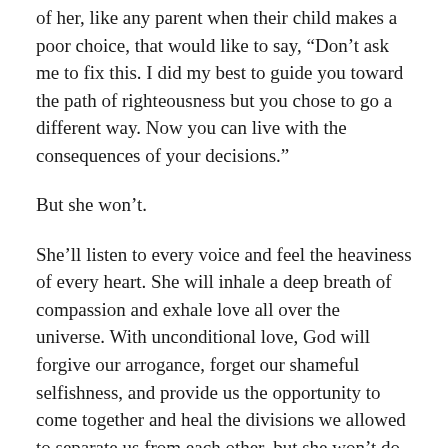of her, like any parent when their child makes a poor choice, that would like to say, “Don’t ask me to fix this. I did my best to guide you toward the path of righteousness but you chose to go a different way. Now you can live with the consequences of your decisions.”
But she won’t.
She’ll listen to every voice and feel the heaviness of every heart. She will inhale a deep breath of compassion and exhale love all over the universe. With unconditional love, God will forgive our arrogance, forget our shameful selfishness, and provide us the opportunity to come together and heal the divisions we allowed to separate us from each other, but she won’t do it for us.
God has provided each of us with everything we need to fix this mess ourselves. We are, after all, each created in God’s own image, each of us a spark of the Divine energy